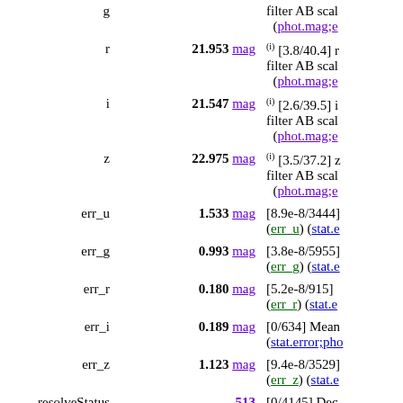| Name | Value | Description |
| --- | --- | --- |
| g | — | filter AB scale (phot.mag;e… |
| r | 21.953 mag | (i) [3.8/40.4] r filter AB scal (phot.mag;e… |
| i | 21.547 mag | (i) [2.6/39.5] i filter AB scal (phot.mag;e… |
| z | 22.975 mag | (i) [3.5/37.2] z filter AB scal (phot.mag;e… |
| err_u | 1.533 mag | [8.9e-8/3444] (err_u) (stat.e… |
| err_g | 0.993 mag | [3.8e-8/5955] (err_g) (stat.e… |
| err_r | 0.180 mag | [5.2e-8/915] (err_r) (stat.e… |
| err_i | 0.189 mag | [0/634] Mean (stat.error;pho… |
| err_z | 1.123 mag | [9.4e-8/3529] (err_z) (stat.e… |
| resolveStatus | 513 | [0/4145] Dec… |